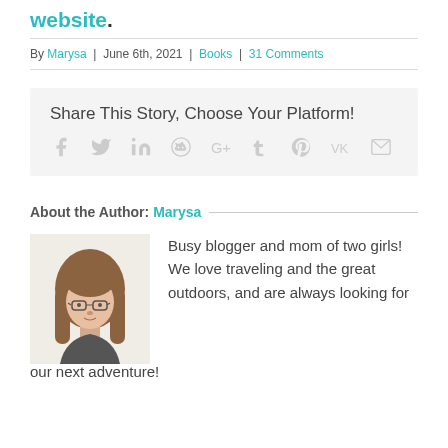website.
By Marysa | June 6th, 2021 | Books | 31 Comments
Share This Story, Choose Your Platform!
[Figure (infographic): Social media sharing icons: Facebook, Twitter, LinkedIn, Reddit, Google+, Tumblr, Pinterest, VK, Email]
About the Author: Marysa
[Figure (photo): Headshot photo of a woman with long brown hair and glasses]
Busy blogger and mom of two girls! We love traveling and the great outdoors, and are always looking for our next adventure!